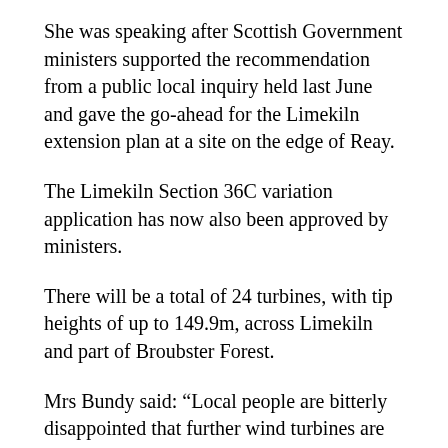She was speaking after Scottish Government ministers supported the recommendation from a public local inquiry held last June and gave the go-ahead for the Limekiln extension plan at a site on the edge of Reay.
The Limekiln Section 36C variation application has now also been approved by ministers.
There will be a total of 24 turbines, with tip heights of up to 149.9m, across Limekiln and part of Broubster Forest.
Mrs Bundy said: “Local people are bitterly disappointed that further wind turbines are being forced on our community, despite overwhelming opposition.
“Residents of Achvarasdal and Shebster will be particularly impacted by the extension.
“With the Limekiln variation being approved, this will increase the height of all turbines to 150m, which the developers’ own environmental impact statement acknowledges will have a significantly detrimental impact on…